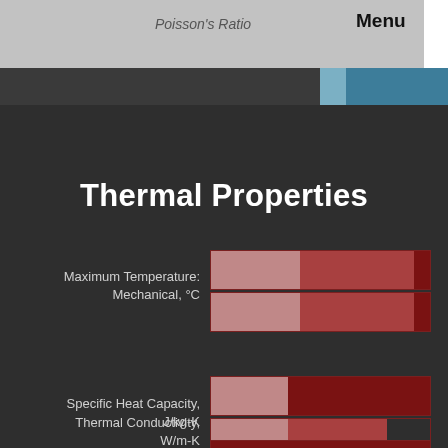Poisson's Ratio  Menu
Thermal Properties
[Figure (infographic): Horizontal bar chart showing Maximum Temperature: Mechanical, °C — two grouped bars with shades of dark red/maroon]
Maximum Temperature: Mechanical, °C
[Figure (infographic): Horizontal bar chart showing Specific Heat Capacity, J/kg-K — two grouped bars with light rose and dark red segments]
Specific Heat Capacity, J/kg-K
[Figure (infographic): Horizontal bar chart showing Thermal Conductivity, W/m-K — partially visible at bottom]
Thermal Conductivity, W/m-K